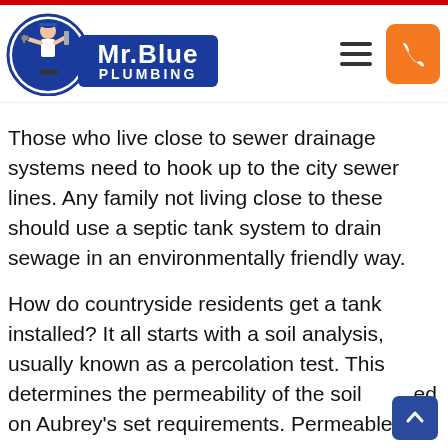[Figure (logo): Mr. Blue Plumbing logo with plumber mascot in blue circle and blue rectangular banner reading Mr.Blue PLUMBING]
Those who live close to sewer drainage systems need to hook up to the city sewer lines. Any family not living close to these should use a septic tank system to drain sewage in an environmentally friendly way.
How do countryside residents get a tank installed? It all starts with a soil analysis, usually known as a percolation test. This determines the permeability of the soil based on Aubrey's set requirements. Permeable soil